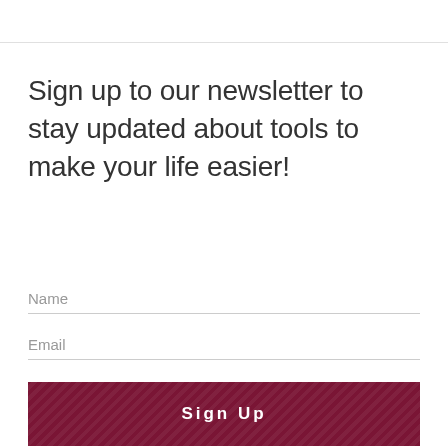Sign up to our newsletter to stay updated about tools to make your life easier!
Name
Email
Sign Up